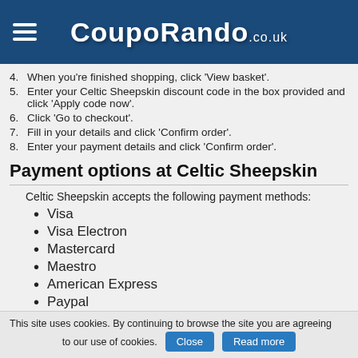CoupoRando.co.uk
4.  When you're finished shopping, click 'View basket'.
5.  Enter your Celtic Sheepskin discount code in the box provided and click 'Apply code now'.
6.  Click 'Go to checkout'.
7.  Fill in your details and click 'Confirm order'.
8.  Enter your payment details and click 'Confirm order'.
Payment options at Celtic Sheepskin
Celtic Sheepskin accepts the following payment methods:
Visa
Visa Electron
Mastercard
Maestro
American Express
Paypal
This site uses cookies. By continuing to browse the site you are agreeing to our use of cookies. Close  Read more